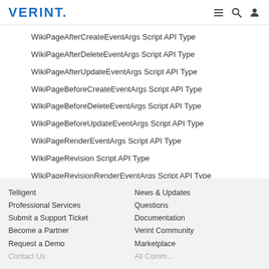VERINT.
WikiPageAfterCreateEventArgs Script API Type
WikiPageAfterDeleteEventArgs Script API Type
WikiPageAfterUpdateEventArgs Script API Type
WikiPageBeforeCreateEventArgs Script API Type
WikiPageBeforeDeleteEventArgs Script API Type
WikiPageBeforeUpdateEventArgs Script API Type
WikiPageRenderEventArgs Script API Type
WikiPageRevision Script API Type
WikiPageRevisionRenderEventArgs Script API Type
Script APIs
Telligent | Professional Services | Submit a Support Ticket | Become a Partner | Request a Demo | News & Updates | Questions | Documentation | Verint Community | Marketplace